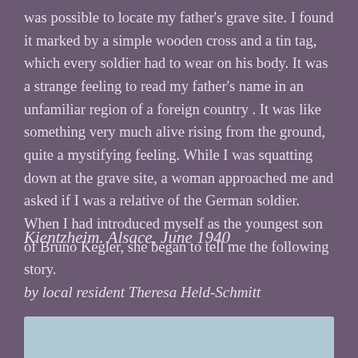was possible to locate my father's grave site. I found it marked by a simple wooden cross and a tin tag, which every soldier had to wear on his body. It was a strange feeling to read my father's name in an unfamiliar region of a foreign country . It was like something very much alive rising from the ground, quite a mystifying feeling. While I was squatting down at the grave site, a woman approached me and asked if I was a relative of the German soldier. When I had introduced myself as the youngest son of Bruno Kegler, she began to tell me the following story.
Kientzheim. Alsace, June 1940
by local resident Theresa Held-Schmitt
[Figure (photo): Bottom edge of a photograph visible, showing a light blue/grey outdoor scene, partially cropped at the bottom of the page.]